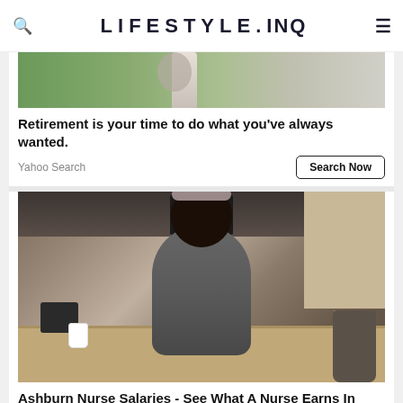LIFESTYLE.INQ
[Figure (photo): Partial photo of person standing outdoors on grassy/rocky terrain, cropped at torso level]
Retirement is your time to do what you've always wanted.
Yahoo Search
Search Now
[Figure (photo): Young woman in gray scrubs sitting at a hospital/medical office desk, holding a Starbucks cup, with a computer monitor and phone visible. STICU label on equipment in background.]
Ashburn Nurse Salaries - See What A Nurse Earns In 2022